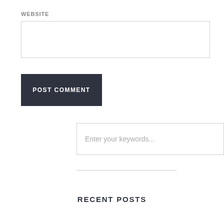WEBSITE
[Figure (screenshot): Website URL input text field, empty, with light gray border]
[Figure (screenshot): POST COMMENT button, dark navy background with white uppercase bold text]
[Figure (screenshot): Search bar with placeholder text 'Enter your keywords...' and a dark SEARCH button on the right]
RECENT POSTS